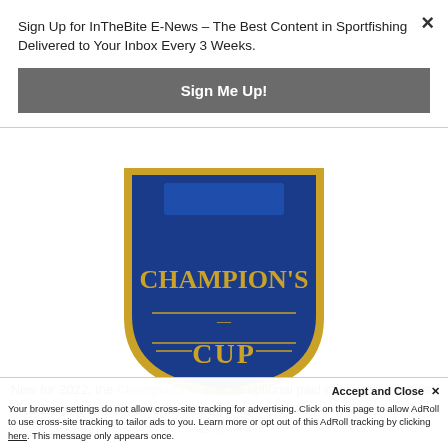Sign Up for InTheBite E-News – The Best Content in Sportfishing Delivered to Your Inbox Every 3 Weeks.
Sign Me Up!
×
[Figure (logo): Champion's Cup badge logo in blue and gold with text CHAMPION'S CUP on a shield/badge shape]
New for 2022, the Champion's Cup is an optional paid entry with a winner-takes-all prize format for teams who want to up the stakes in each division utilizing our lon
Accept and Close ×
Your browser settings do not allow cross-site tracking for advertising. Click on this page to allow AdRoll to use cross-site tracking to tailor ads to you. Learn more or opt out of this AdRoll tracking by clicking here. This message only appears once.